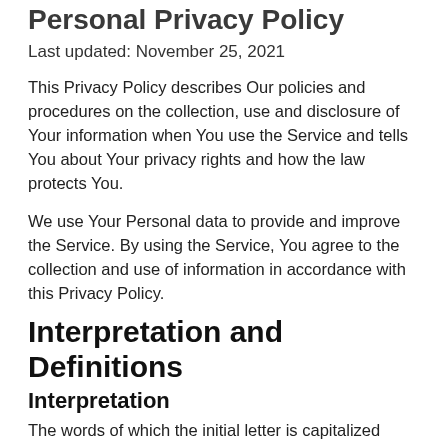Personal Privacy Policy
Last updated: November 25, 2021
This Privacy Policy describes Our policies and procedures on the collection, use and disclosure of Your information when You use the Service and tells You about Your privacy rights and how the law protects You.
We use Your Personal data to provide and improve the Service. By using the Service, You agree to the collection and use of information in accordance with this Privacy Policy.
Interpretation and Definitions
Interpretation
The words of which the initial letter is capitalized